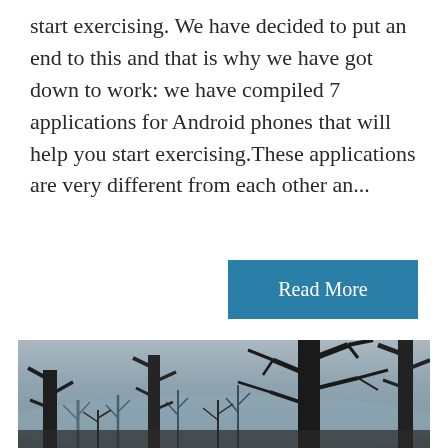start exercising. We have decided to put an end to this and that is why we have got down to work: we have compiled 7 applications for Android phones that will help you start exercising.These applications are very different from each other an...
Read More
[Figure (photo): Black and white photo of bare, dead or burned trees with dark twisted branches against a grey hazy sky. The foreground trees are dark and silhouetted, while the background shows a misty landscape.]